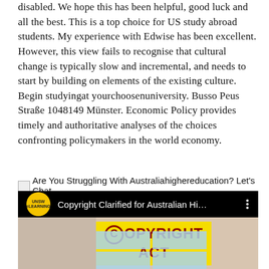disabled. We hope this has been helpful, good luck and all the best. This is a top choice for US study abroad students. My experience with Edwise has been excellent. However, this view fails to recognise that cultural change is typically slow and incremental, and needs to start by building on elements of the existing culture. Begin studyingat yourchoosenuniversity. Busso Peus Straße 1048149 Münster. Economic Policy provides timely and authoritative analyses of the choices confronting policymakers in the world economy.
Are You Struggling With Australiahighereducation? Let's Chat
[Figure (screenshot): YouTube-style video thumbnail showing 'Copyright Clarified for Australian Hi...' with UNSW eLearning logo and a copyright act sign image below]